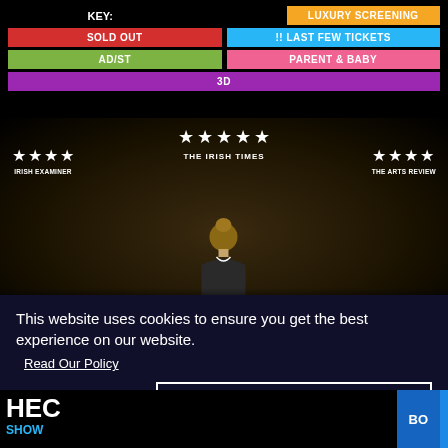KEY:
SOLD OUT
LUXURY SCREENING
AD/ST
!! LAST FEW TICKETS
PARENT & BABY
3D
[Figure (photo): Movie promotional image with star ratings: 4 stars from Irish Examiner, 5 stars top center, text 'THE IRISH TIMES', 4 stars from The Arts Review. A figure of a person seen from behind on a dark stage.]
This website uses cookies to ensure you get the best experience on our website.
Read Our Policy
Decline
ACCEPT
HEC
SHOW
BO